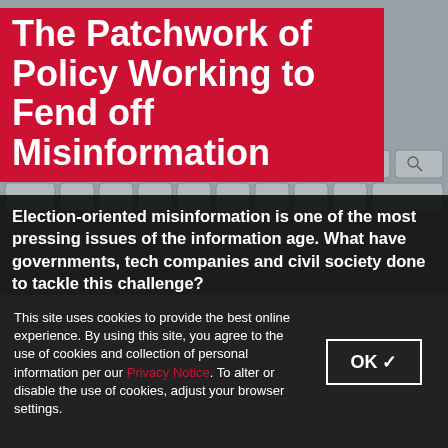[Figure (photo): Background image of grey computer keyboard keys with various icons (shopping cart, location pin, etc.) overlaid on the keys, giving a technology/digital theme]
The Patchwork of Policy Working to Fend off Misinformation
Election-oriented misinformation is one of the most pressing issues of the information age. What have governments, tech companies and civil society done to tackle this challenge?
This site uses cookies to provide the best online experience. By using this site, you agree to the use of cookies and collection of personal information per our Privacy Notice. To alter or disable the use of cookies, adjust your browser settings.